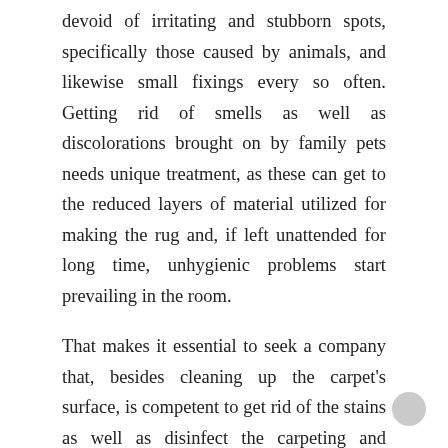devoid of irritating and stubborn spots, specifically those caused by animals, and likewise small fixings every so often. Getting rid of smells as well as discolorations brought on by family pets needs unique treatment, as these can get to the reduced layers of material utilized for making the rug and, if left unattended for long time, unhygienic problems start prevailing in the room.
That makes it essential to seek a company that, besides cleaning up the carpet's surface, is competent to get rid of the stains as well as disinfect the carpeting and browse here https://twitter.com/IndustryClean. Search for a firm that is committed to keeping utmost expert norms, yet takes care of your particular requirements. An excellent firm likewise enlightens its customers on how to extend the life of their carpeting's. The answer always consideration recommends to like that credit...